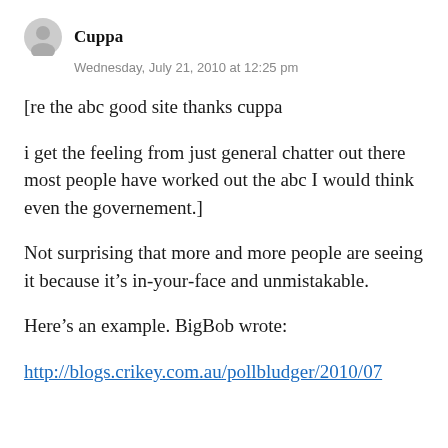Cuppa
Wednesday, July 21, 2010 at 12:25 pm
[re the abc good site thanks cuppa
i get the feeling from just general chatter out there most people have worked out the abc I would think even the governement.]
Not surprising that more and more people are seeing it because it’s in-your-face and unmistakable.
Here’s an example. BigBob wrote:
http://blogs.crikey.com.au/pollbludger/2010/07